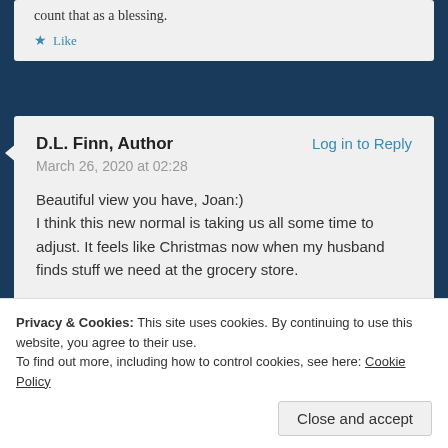count that as a blessing.
★ Like
D.L. Finn, Author
Log in to Reply
March 26, 2020 at 02:28
Beautiful view you have, Joan:)
I think this new normal is taking us all some time to adjust. It feels like Christmas now when my husband finds stuff we need at the grocery store.
★ Liked by 3 people
Privacy & Cookies: This site uses cookies. By continuing to use this website, you agree to their use.
To find out more, including how to control cookies, see here: Cookie Policy
Close and accept